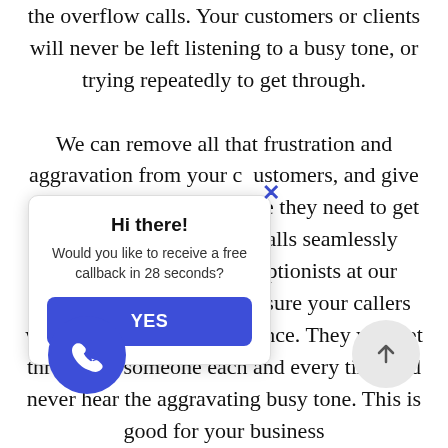the overflow calls. Your customers or clients will never be left listening to a busy tone, or trying repeatedly to get through.

We can remove all that frustration and aggravation from your customers, and give your receptionists the time they need to get done, by having all the calls seamlessly redirected to virtual receptionists at our friendly call center. We assure your callers will never know the difference. They will get through to someone each and every time and never hear the aggravating busy tone. This is good for your business
[Figure (infographic): A popup dialog with an X close button, title 'Hi there!', text 'Would you like to receive a free callback in 28 seconds?', and a blue YES button.]
[Figure (infographic): A circular blue phone icon button at bottom left.]
[Figure (infographic): A circular grey scroll-up arrow button at bottom right.]